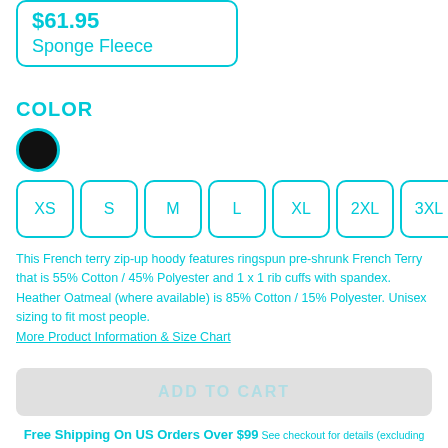$61.95
Sponge Fleece
COLOR
[Figure (illustration): Black circular color swatch with cyan border]
XS
S
M
L
XL
2XL
3XL
This French terry zip-up hoody features ringspun pre-shrunk French Terry that is 55% Cotton / 45% Polyester and 1 x 1 rib cuffs with spandex. Heather Oatmeal (where available) is 85% Cotton / 15% Polyester. Unisex sizing to fit most people.
More Product Information & Size Chart
ADD TO CART
Free Shipping On US Orders Over $99 See checkout for details (excluding Shoes, Skateboards, and some Wall Art)